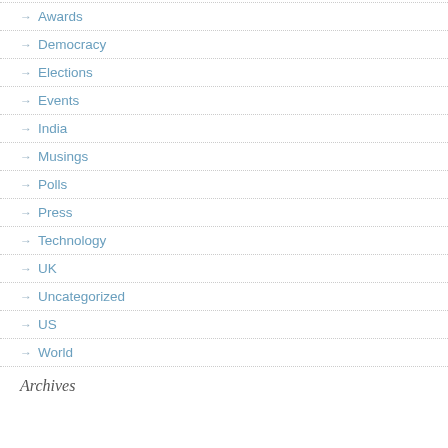→ Awards
→ Democracy
→ Elections
→ Events
→ India
→ Musings
→ Polls
→ Press
→ Technology
→ UK
→ Uncategorized
→ US
→ World
Archives